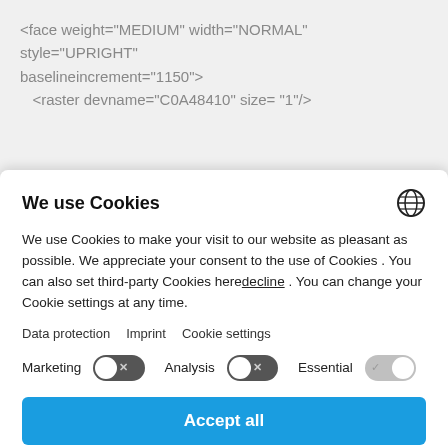<face weight="MEDIUM" width="NORMAL" style="UPRIGHT" baselineincrement="1150"> <raster devname="C0A48410" size= "1"/>
We use Cookies
We use Cookies to make your visit to our website as pleasant as possible. We appreciate your consent to the use of Cookies . You can also set third-party Cookies here decline . You can change your Cookie settings at any time.
Data protection  Imprint  Cookie settings
Marketing  [toggle off]  Analysis  [toggle off]  Essential  [toggle on]
Accept all
Save Settings
Powered by Usercentrics Consent Management